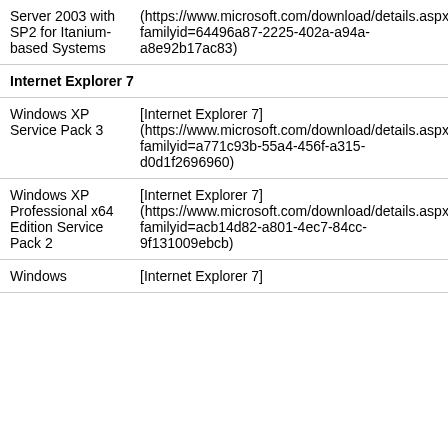| Server 2003 with SP2 for Itanium-based Systems | (https://www.microsoft.com/download/details.aspx?familyid=64496a87-2225-402a-a94a-a8e92b17ac83) |
| Internet Explorer 7 |  |
| Windows XP Service Pack 3 | [Internet Explorer 7] (https://www.microsoft.com/download/details.aspx?familyid=a771c93b-55a4-456f-a315-d0d1f2696960) |
| Windows XP Professional x64 Edition Service Pack 2 | [Internet Explorer 7] (https://www.microsoft.com/download/details.aspx?familyid=acb14d82-a801-4ec7-84cc-9f131009ebcb) |
| Windows | [Internet Explorer 7] |